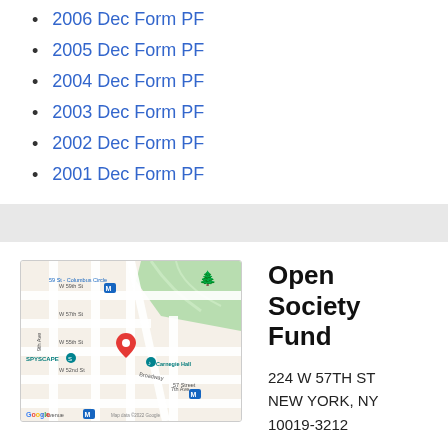2006 Dec Form PF
2005 Dec Form PF
2004 Dec Form PF
2003 Dec Form PF
2002 Dec Form PF
2001 Dec Form PF
[Figure (map): Google Maps showing location near 224 W 57th St, New York, NY. Shows Carnegie Hall, SPYSCAPE, 59 St - Columbus Circle subway station, surrounding streets including W 57th St, W 59th St, Broadway, 7th Ave, 9th Ave. Red map pin marks the location.]
Open Society Fund
224 W 57TH ST
NEW YORK, NY
10019-3212